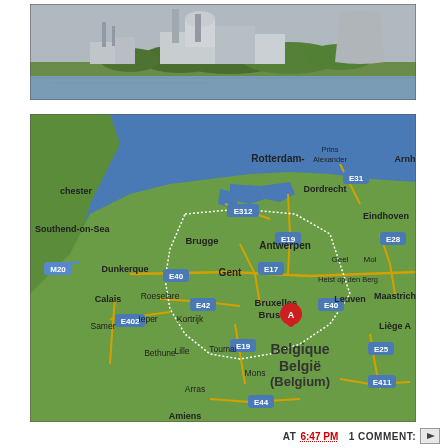[Figure (photo): Industrial facility or power plant viewed across a canal or river, with large structures including what appear to be chimney stacks and cooling towers, green trees in the background, under a gray sky.]
[Figure (map): Google Maps satellite view showing Belgium and surrounding regions. Shows Rotterdam, Antwerpen, Brussels (with a red location marker 'A'), Bruxelles/Brussel, Gent, Brugge, and other cities. Country label reads 'Belgique Belgie (Belgium)'. Shows parts of Netherlands, France, and southern England.]
AT 6:47 PM   1 COMMENT: